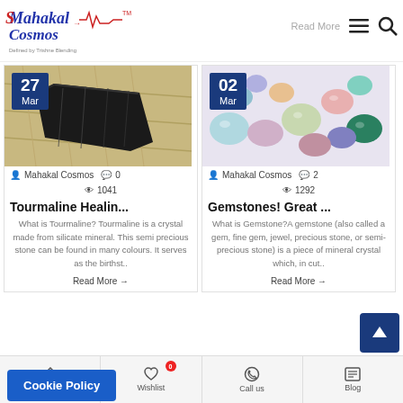Mahakal Cosmos
[Figure (logo): Mahakal Cosmos logo with decorative text]
[Figure (photo): Dark black tourmaline crystal stone on straw background with date badge 27 Mar. Author: Mahakal Cosmos, Comments: 0, Views: 1041]
[Figure (photo): Colorful gemstones on white background with date badge 02 Mar. Author: Mahakal Cosmos, Comments: 2, Views: 1292]
Tourmaline Healin...
Gemstones! Great ...
What is Tourmaline? Tourmaline is a crystal made from silicate mineral. This semi precious stone can be found in many colours. It serves as the birthst..
What is Gemstone?A gemstone (also called a gem, fine gem, jewel, precious stone, or semi-precious stone) is a piece of mineral crystal which, in cut..
Read More →
Read More →
Home | Wishlist | Call us | Blog